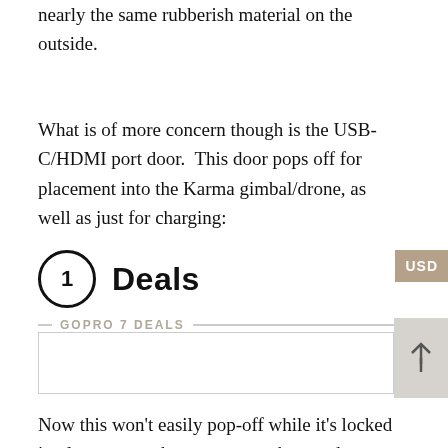nearly the same rubberish material on the outside.
What is of more concern though is the USB-C/HDMI port door.  This door pops off for placement into the Karma gimbal/drone, as well as just for charging:
1  Deals
GOPRO 7 DEALS
Now this won't easily pop-off while it's locked in place, as you have to press a button down to open it (plus slide it).  But, the trick will be not losing it after charging your camera or while the charging cable is